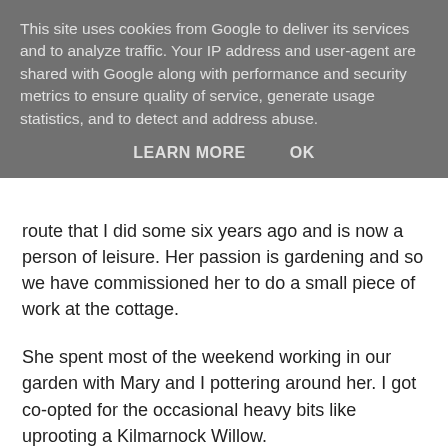This site uses cookies from Google to deliver its services and to analyze traffic. Your IP address and user-agent are shared with Google along with performance and security metrics to ensure quality of service, generate usage statistics, and to detect and address abuse.
LEARN MORE   OK
route that I did some six years ago and is now a person of leisure. Her passion is gardening and so we have commissioned her to do a small piece of work at the cottage.
She spent most of the weekend working in our garden with Mary and I pottering around her. I got co-opted for the occasional heavy bits like uprooting a Kilmarnock Willow.
The primary target was the bed next to the drive at the front and the first thing you see as you arrive at the cottage. Now completely dug out and dug over and re-planted with mostly evergreen silver-through-grey foliage.
In a few weeks time the secondary objective is to re-jig the